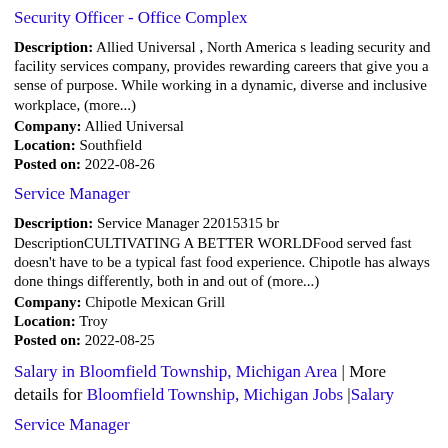Security Officer - Office Complex
Description: Allied Universal , North America s leading security and facility services company, provides rewarding careers that give you a sense of purpose. While working in a dynamic, diverse and inclusive workplace, (more...)
Company: Allied Universal
Location: Southfield
Posted on: 2022-08-26
Service Manager
Description: Service Manager 22015315 br DescriptionCULTIVATING A BETTER WORLDFood served fast doesn't have to be a typical fast food experience. Chipotle has always done things differently, both in and out of (more...)
Company: Chipotle Mexican Grill
Location: Troy
Posted on: 2022-08-25
Salary in Bloomfield Township, Michigan Area | More details for Bloomfield Township, Michigan Jobs |Salary
Service Manager
Description: Service Manager 22015310 br DescriptionCULTIVATING A BETTER WORLDFood served fast doesn't have to be a typical fast food experience. Chipotle has